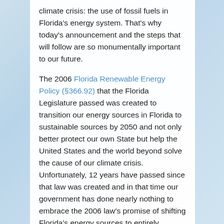climate crisis: the use of fossil fuels in Florida's energy system. That's why today's announcement and the steps that will follow are so monumentally important to our future.
The 2006 Florida Renewable Energy Policy (§366.92) that the Florida Legislature passed was created to transition our energy sources in Florida to sustainable sources by 2050 and not only better protect our own State but help the United States and the world beyond solve the cause of our climate crisis. Unfortunately, 12 years have passed since that law was created and in that time our government has done nearly nothing to embrace the 2006 law's promise of shifting Florida's energy sources to entirely sustainable ones.
That is until today when inaction transitions into action.